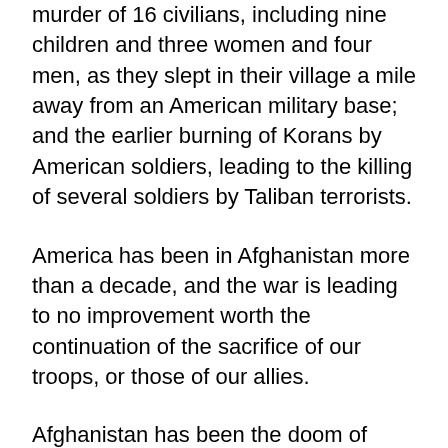murder of 16 civilians, including nine children and three women and four men, as they slept in their village a mile away from an American military base; and the earlier burning of Korans by American soldiers, leading to the killing of several soldiers by Taliban terrorists.
America has been in Afghanistan more than a decade, and the war is leading to no improvement worth the continuation of the sacrifice of our troops, or those of our allies.
Afghanistan has been the doom of Alexander the Great in the ancient world; the British Empire in the 19th century; the Soviet Union in the late 20th century; and now the US and allied nations in the 21st century! It is time to expedite our exit, and just use drones and the air force against Taliban and Al Qaeda terrorists. Making Afghanistan a